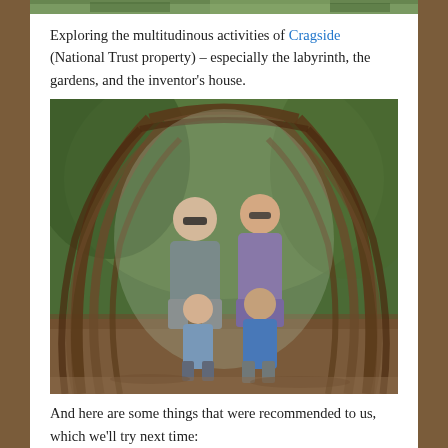[Figure (photo): Top strip of a photo, partially visible at top of page - green foliage/outdoor scene]
Exploring the multitudinous activities of Cragside (National Trust property) – especially the labyrinth, the gardens, and the inventor's house.
[Figure (photo): Family of four standing inside a natural archway made of intertwined tree branches/vines, with green foliage in the background. Two adults and two children, all wearing blue/grey clothing.]
And here are some things that were recommended to us, which we'll try next time: